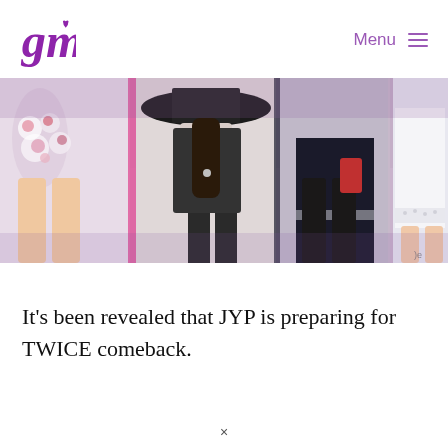gm | Menu
[Figure (photo): Cropped photo showing group of people (K-pop group TWICE) standing side by side, showing their lower bodies/outfits at what appears to be a press event. One person is bowing with a wide-brimmed hat.]
It's been revealed that JYP is preparing for TWICE comeback.
×